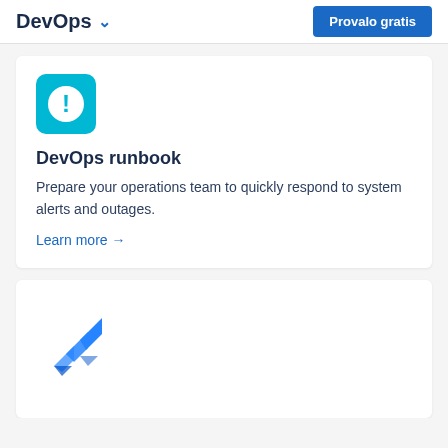DevOps  Provalo gratis
[Figure (illustration): Teal/cyan rounded square icon with a white circle containing a white exclamation mark]
DevOps runbook
Prepare your operations team to quickly respond to system alerts and outages.
Learn more →
[Figure (logo): Jira/Atlassian-style blue arrow/chevron logo mark made of overlapping blue triangle shapes]